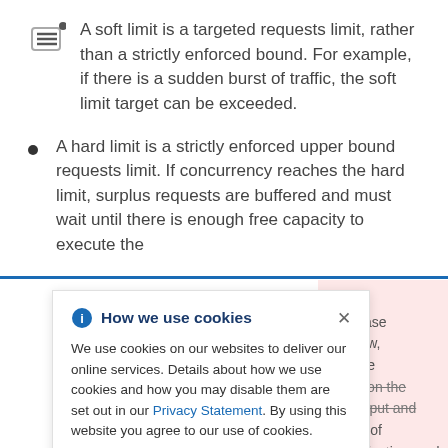A soft limit is a targeted requests limit, rather than a strictly enforced bound. For example, if there is a sudden burst of traffic, the soft limit target can be exceeded.
A hard limit is a strictly enforced upper bound requests limit. If concurrency reaches the hard limit, surplus requests are buffered and must wait until there is enough free capacity to execute the
[Figure (infographic): Cookie consent dialog overlay: 'How we use cookies' with info icon and close button. Body text: 'We use cookies on our websites to deliver our online services. Details about how we use cookies and how you may disable them are set out in our Privacy Statement. By using this website you agree to our use of cookies.']
is only r use case ing a low, negative impact on the throughput and latency of an application, and might cause cold starts